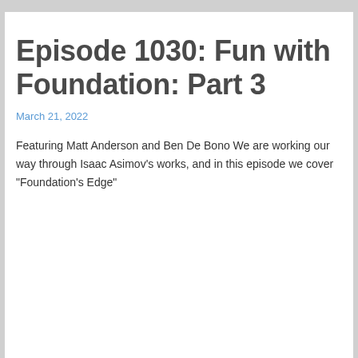Episode 1030: Fun with Foundation: Part 3
March 21, 2022
Featuring Matt Anderson and Ben De Bono We are working our way through Isaac Asimov's works, and in this episode we cover "Foundation's Edge"